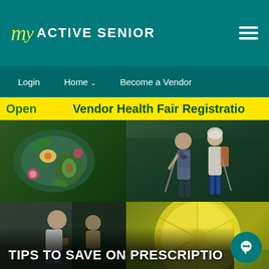My ACTIVE SENIOR
Login   Home ▾   Become a Vendor
Open   Vendor Health Fair Registration
[Figure (screenshot): Grid of four lifestyle photos: colorful healthy food bowl with eggs and avocado, two seniors hiking with trekking poles, a woman sitting with a cup, close-up of lemon slices in water]
TIPS TO SAVE ON PRESCRIPTIO...